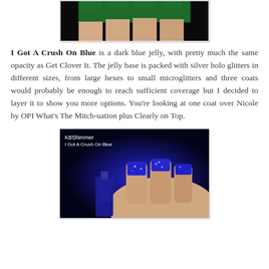[Figure (photo): Partial photo of hand with dark green glitter nail polish on black background, cropped at top]
I Got A Crush On Blue is a dark blue jelly, with pretty much the same opacity as Get Clover It. The jelly base is packed with silver holo glitters in different sizes, from large hexes to small microglitters and three coats would probably be enough to reach sufficient coverage but I decided to layer it to show you more options. You're looking at one coat over Nicole by OPI What's The Mitch-uation plus Clearly on Top.
[Figure (photo): Photo labeled KBShimmer I Got A Crush On Blue showing hand with dark royal blue glitter nail polish and a nail polish bottle on black background]